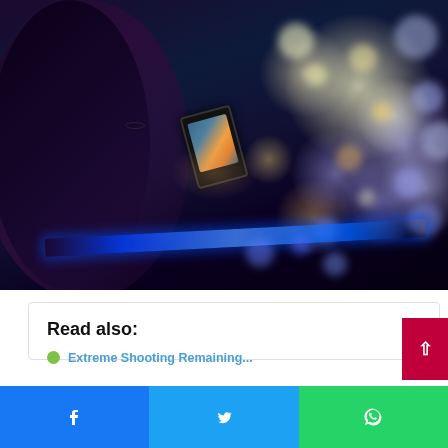[Figure (photo): A person photographing a Christmas tree at night with a smartphone. The scene is dark with bokeh lights from the tree visible in blue, gold, and white. A blue LED strip is visible in the foreground.]
Read also:
🌿 Extreme Shooting Remaining...
[Figure (other): Social share buttons bar at bottom: Facebook (blue), Twitter (blue), WhatsApp (green)]